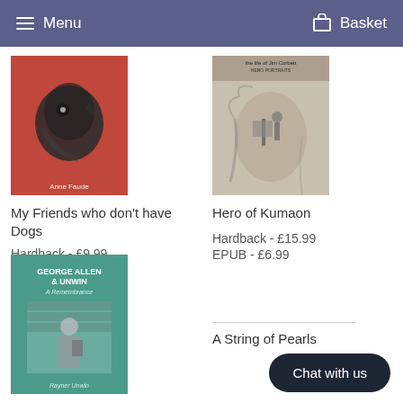Menu   Basket
[Figure (photo): Book cover: My Friends who don't have Dogs — red background with black and white animal illustration, author name at bottom]
My Friends who don't have Dogs
Hardback - £9.99
[Figure (photo): Book cover: Hero of Kumaon — sepia/aged illustration of figures, title text at top]
Hero of Kumaon
Hardback - £15.99
EPUB - £6.99
[Figure (photo): Book cover: George Allen & Unwin A Remembrance — teal background with a man reading, author Rayner Unwin at bottom]
George Allen & Unwin
A String of Pearls